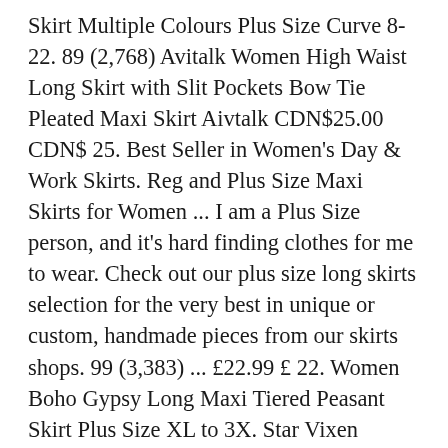Skirt Multiple Colours Plus Size Curve 8-22. 89 (2,768) Avitalk Women High Waist Long Skirt with Slit Pockets Bow Tie Pleated Maxi Skirt Aivtalk CDN$25.00 CDN$ 25. Best Seller in Women's Day & Work Skirts. Reg and Plus Size Maxi Skirts for Women ... I am a Plus Size person, and it's hard finding clothes for me to wear. Check out our plus size long skirts selection for the very best in unique or custom, handmade pieces from our skirts shops. 99 (3,383) ... £22.99 £ 22. Women Boho Gypsy Long Maxi Tiered Peasant Skirt Plus Size XL to 3X. Star Vixen Womens Plus-Size Tie-Waist Ity Stretch A-line Mid-Length Skirt Skirt FREE Shipping on orders over $25 shipped by